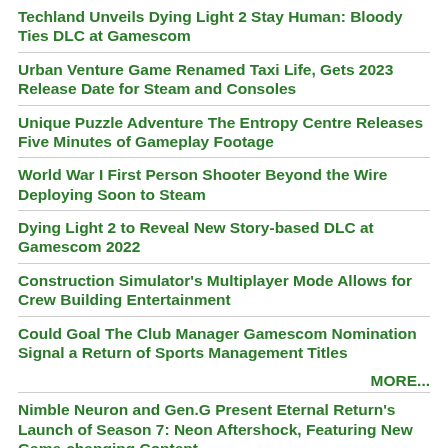Techland Unveils Dying Light 2 Stay Human: Bloody Ties DLC at Gamescom
Urban Venture Game Renamed Taxi Life, Gets 2023 Release Date for Steam and Consoles
Unique Puzzle Adventure The Entropy Centre Releases Five Minutes of Gameplay Footage
World War I First Person Shooter Beyond the Wire Deploying Soon to Steam
Dying Light 2 to Reveal New Story-based DLC at Gamescom 2022
Construction Simulator's Multiplayer Mode Allows for Crew Building Entertainment
Could Goal The Club Manager Gamescom Nomination Signal a Return of Sports Management Titles
MORE...
Nimble Neuron and Gen.G Present Eternal Return's Launch of Season 7: Neon Aftershock, Featuring New Game-changing Content
Vanta Partners with the Bucks IU Fab Lab Center to Bring Esports to Bucks County
Streamers unite to fundraise for Starlight Children's